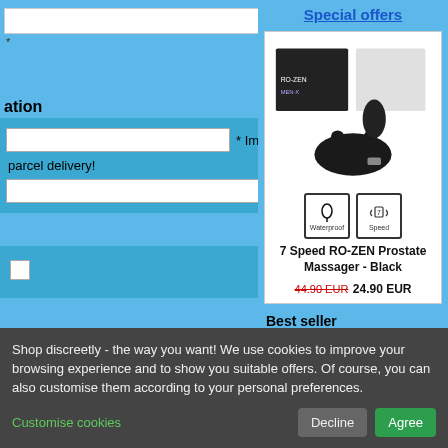* Important for parcel delivery!
ation
[Figure (screenshot): Form with input fields, checkbox, and Continue button on blue background]
Special offers
[Figure (photo): 7 Speed RO-ZEN Prostate Massager - Black product image with waterproof and 7-speed icons]
7 Speed RO-ZEN Prostate Massager - Black
44.90 EUR 24.90 EUR
Best seller
01. RUSH LIQUID INCENSE
Shop discreetly - the way you want! We use cookies to improve your browsing experience and to show you suitable offers. Of course, you can also customise them according to your personal preferences.
Customise cookies
Decline
Agree